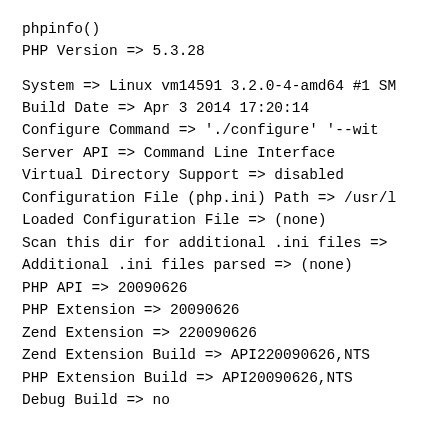phpinfo()
PHP Version => 5.3.28

System => Linux vm14591 3.2.0-4-amd64 #1 SM
Build Date => Apr  3 2014 17:20:14
Configure Command =>  './configure'  '--wit
Server API => Command Line Interface
Virtual Directory Support => disabled
Configuration File (php.ini) Path => /usr/l
Loaded Configuration File => (none)
Scan this dir for additional .ini files =>
Additional .ini files parsed => (none)
PHP API => 20090626
PHP Extension => 20090626
Zend Extension => 220090626
Zend Extension Build => API220090626,NTS
PHP Extension Build => API20090626,NTS
Debug Build => no